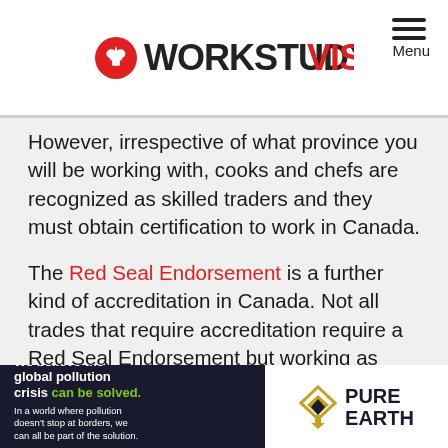WORKSTUDY VISA
However, irrespective of what province you will be working with, cooks and chefs are recognized as skilled traders and they must obtain certification to work in Canada.
The Red Seal Endorsement is a further kind of accreditation in Canada. Not all trades that require accreditation require a Red Seal Endorsement but working as chefs and cooks in Canada do.
With a Red Seal Endorsement, you prove that you
[Figure (other): Pure Earth advertisement banner: 'We believe the global pollution crisis can be solved. In a world where pollution doesn't stop at borders, we can all be part of the solution. JOIN US.' with Pure Earth logo.]